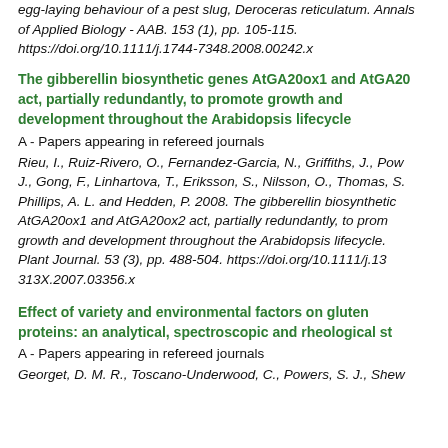egg-laying behaviour of a pest slug, Deroceras reticulatum. Annals of Applied Biology - AAB. 153 (1), pp. 105-115. https://doi.org/10.1111/j.1744-7348.2008.00242.x
The gibberellin biosynthetic genes AtGA20ox1 and AtGA20ox2 act, partially redundantly, to promote growth and development throughout the Arabidopsis lifecycle
A - Papers appearing in refereed journals
Rieu, I., Ruiz-Rivero, O., Fernandez-Garcia, N., Griffiths, J., Powers, S. J., Gong, F., Linhartova, T., Eriksson, S., Nilsson, O., Thomas, S. G., Phillips, A. L. and Hedden, P. 2008. The gibberellin biosynthetic genes AtGA20ox1 and AtGA20ox2 act, partially redundantly, to promote growth and development throughout the Arabidopsis lifecycle. Plant Journal. 53 (3), pp. 488-504. https://doi.org/10.1111/j.1365-313X.2007.03356.x
Effect of variety and environmental factors on gluten proteins: an analytical, spectroscopic and rheological study
A - Papers appearing in refereed journals
Georget, D. M. R., Toscano-Underwood, C., Powers, S. J., Shewry, P. R. and Belton, P. S. 2008. Effect of variety and environmental factors on gluten proteins: an analytical, spectroscopic and rheological study.